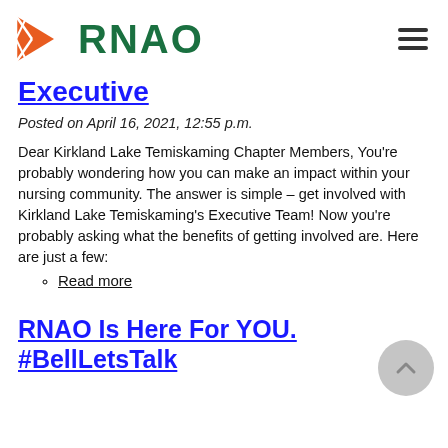RNAO
Executive
Posted on April 16, 2021, 12:55 p.m.
Dear Kirkland Lake Temiskaming Chapter Members, You're probably wondering how you can make an impact within your nursing community. The answer is simple – get involved with Kirkland Lake Temiskaming's Executive Team! Now you're probably asking what the benefits of getting involved are. Here are just a few:
Read more
RNAO Is Here For YOU. #BellLetsTalk